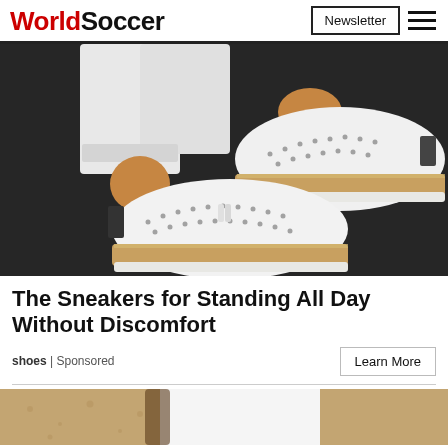WorldSoccer | Newsletter
[Figure (photo): Close-up photo of a person wearing white perforated slip-on sneakers with tan platform soles and rope detailing, standing on a dark surface with white jeans.]
The Sneakers for Standing All Day Without Discomfort
shoes | Sponsored
[Figure (photo): Partial view of a second advertisement image showing sandy/beach background with a partially visible white overlay panel.]